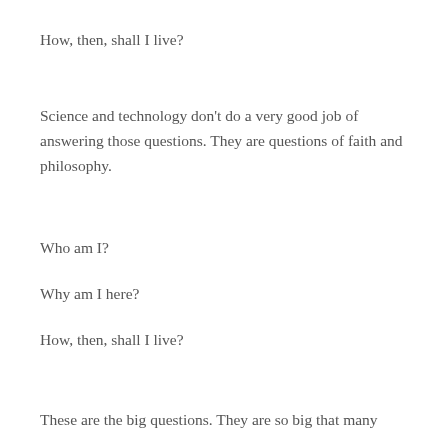How, then, shall I live?
Science and technology don't do a very good job of answering those questions. They are questions of faith and philosophy.
Who am I?
Why am I here?
How, then, shall I live?
These are the big questions. They are so big that many